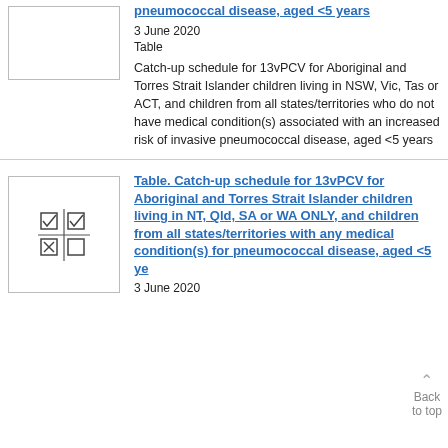[Figure (other): Blank white thumbnail placeholder image]
pneumococcal disease, aged <5 years
3 June 2020
Table
Catch-up schedule for 13vPCV for Aboriginal and Torres Strait Islander children living in NSW, Vic, Tas or ACT, and children from all states/territories who do not have medical condition(s) associated with an increased risk of invasive pneumococcal disease, aged <5 years
[Figure (table-as-image): Thumbnail showing a table icon with checkboxes and grid]
Table. Catch-up schedule for 13vPCV for Aboriginal and Torres Strait Islander children living in NT, Qld, SA or WA ONLY, and children from all states/territories with any medical condition(s) for pneumococcal disease, aged <5 years
3 June 2020